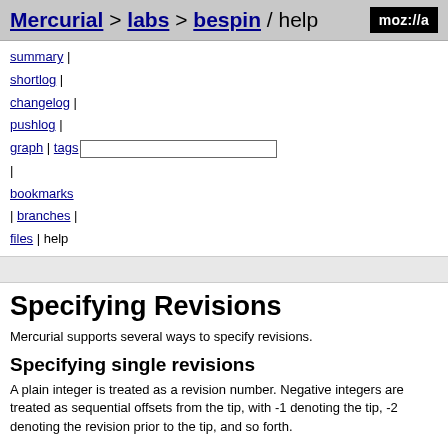Mercurial > labs > bespin / help  moz://a
summary | shortlog | changelog | pushlog | graph | tags | bookmarks | branches | files | help
Specifying Revisions
Mercurial supports several ways to specify revisions.
Specifying single revisions
A plain integer is treated as a revision number. Negative integers are treated as sequential offsets from the tip, with -1 denoting the tip, -2 denoting the revision prior to the tip, and so forth.
A 40-digit hexadecimal string is treated as a unique revision identifier. A hexadecimal string less than 40 characters long is treated as a unique revision identifier and is referred to as a short-form identifier. A short-form identifier is only valid if it is the prefix of exactly one full-length identifier.